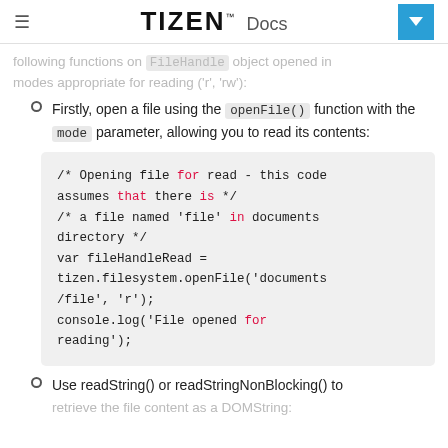TIZEN™ Docs
following functions on `FileHandle` object opened in modes appropriate for reading ('r', 'rw'):
Firstly, open a file using the openFile() function with the mode parameter, allowing you to read its contents:
/* Opening file for read - this code assumes that there is */
/* a file named 'file' in documents directory */
var fileHandleRead = tizen.filesystem.openFile('documents/file', 'r');
console.log('File opened for reading');
Use readString() or readStringNonBlocking() to retrieve the file content as a DOMString: